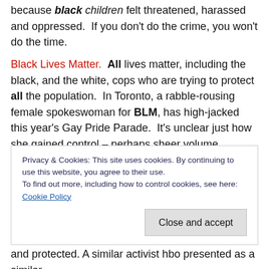because black children felt threatened, harassed and oppressed.  If you don't do the crime, you won't do the time.
Black Lives Matter. All lives matter, including the black, and the white, cops who are trying to protect all the population.  In Toronto, a rabble-rousing female spokeswoman for BLM, has high-jacked this year's Gay Pride Parade.  It's unclear just how she gained control – perhaps sheer volume.
At first, she and her cabal – and these aren't even home-
Privacy & Cookies: This site uses cookies. By continuing to use this website, you agree to their use.
To find out more, including how to control cookies, see here: Cookie Policy
Close and accept
and protected. A similar activist hbo presented as a similar